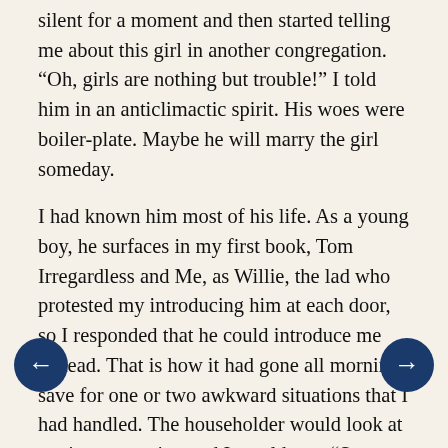silent for a moment and then started telling me about this girl in another congregation. “Oh, girls are nothing but trouble!” I told him in an anticlimactic spirit. His woes were boiler-plate. Maybe he will marry the girl someday.
I had known him most of his life. As a young boy, he surfaces in my first book, Tom Irregardless and Me, as Willie, the lad who protested my introducing him at each door, so I responded that he could introduce me instead. That is how it had gone all morning, save for one or two awkward situations that I had handled. The householder would look at me in expectation and I would say: “Sorry, I’m too bashful. It’s his turn.” As long as he had been comfortable, it had remained his turn.
He also surfaces as Dietrich in the second